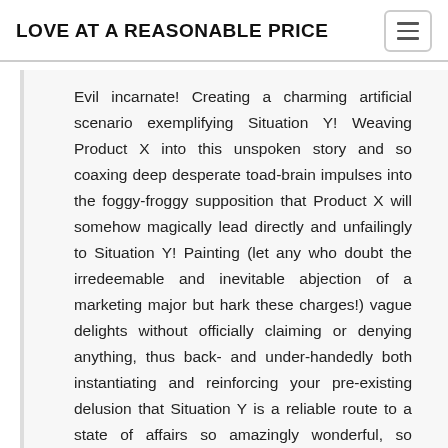LOVE AT A REASONABLE PRICE
Evil incarnate! Creating a charming artificial scenario exemplifying Situation Y! Weaving Product X into this unspoken story and so coaxing deep desperate toad-brain impulses into the foggy-froggy supposition that Product X will somehow magically lead directly and unfailingly to Situation Y! Painting (let any who doubt the irredeemable and inevitable abjection of a marketing major but hark these charges!) vague delights without officially claiming or denying anything, thus back- and under-handedly both instantiating and reinforcing your pre-existing delusion that Situation Y is a reliable route to a state of affairs so amazingly wonderful, so incredibly beyond what you can even imagine — but that you